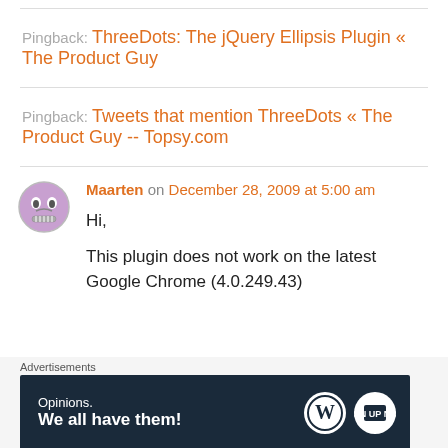Pingback: ThreeDots: The jQuery Ellipsis Plugin « The Product Guy
Pingback: Tweets that mention ThreeDots « The Product Guy -- Topsy.com
Maarten on December 28, 2009 at 5:00 am
Hi,

This plugin does not work on the latest Google Chrome (4.0.249.43)
Advertisements
[Figure (illustration): Advertisement banner: dark navy background with text 'Opinions. We all have them!' and WordPress and another logo on the right]